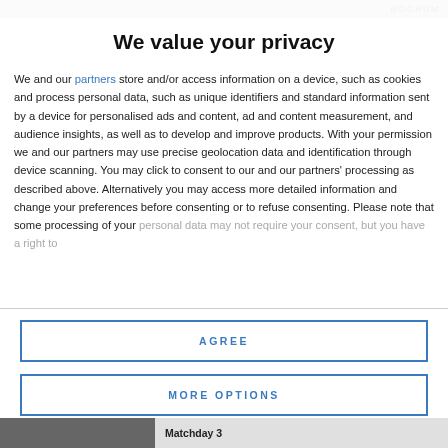BOCHUM
We value your privacy
We and our partners store and/or access information on a device, such as cookies and process personal data, such as unique identifiers and standard information sent by a device for personalised ads and content, ad and content measurement, and audience insights, as well as to develop and improve products. With your permission we and our partners may use precise geolocation data and identification through device scanning. You may click to consent to our and our partners' processing as described above. Alternatively you may access more detailed information and change your preferences before consenting or to refuse consenting. Please note that some processing of your personal data may not require your consent, but you have a right to
AGREE
MORE OPTIONS
Matchday 3